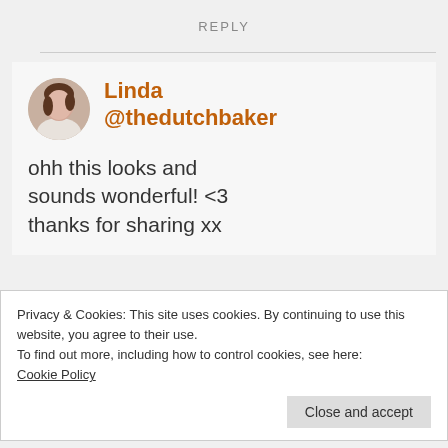REPLY
[Figure (photo): Circular avatar photo of Linda, a woman with dark hair]
Linda @thedutchbaker
ohh this looks and sounds wonderful! <3 thanks for sharing xx
Privacy & Cookies: This site uses cookies. By continuing to use this website, you agree to their use.
To find out more, including how to control cookies, see here: Cookie Policy
Close and accept